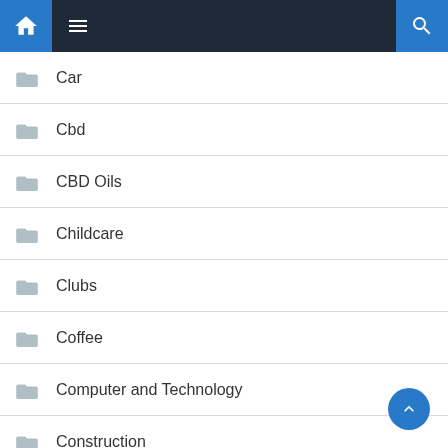Navigation bar with home, menu, and search icons
Car
Cbd
CBD Oils
Childcare
Clubs
Coffee
Computer and Technology
Construction
Cooking
Credit